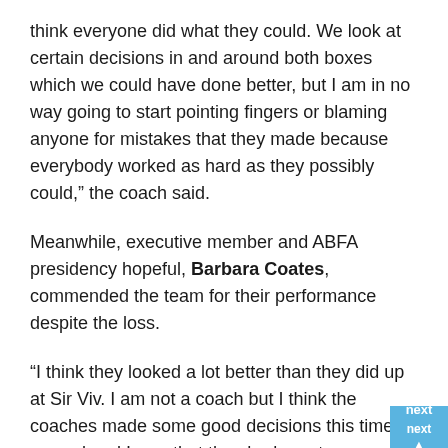think everyone did what they could. We look at certain decisions in and around both boxes which we could have done better, but I am in no way going to start pointing fingers or blaming anyone for mistakes that they made because everybody worked as hard as they possibly could," the coach said.
Meanwhile, executive member and ABFA presidency hopeful, Barbara Coates, commended the team for their performance despite the loss.
“I think they looked a lot better than they did up at Sir Viv. I am not a coach but I think the coaches made some good decisions this time around and I saw that they had great opportunities in the first half but we just didn’t capitalise on them. I just want to say that these things happen and that next time around it would be better, it’s a learning experience,” he